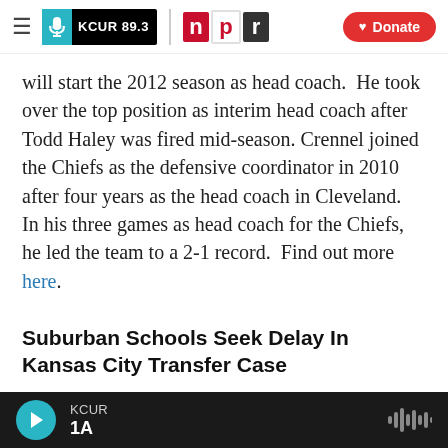KCUR 89.3 | npr | Donate
will start the 2012 season as head coach.  He took over the top position as interim head coach after Todd Haley was fired mid-season. Crennel joined the Chiefs as the defensive coordinator in 2010 after four years as the head coach in Cleveland.  In his three games as head coach for the Chiefs, he led the team to a 2-1 record.  Find out more here.
Suburban Schools Seek Delay In Kansas City Transfer Case
Five suburban school districts suing the Kansas City Missouri district over its transfer policy want to
KCUR 1A